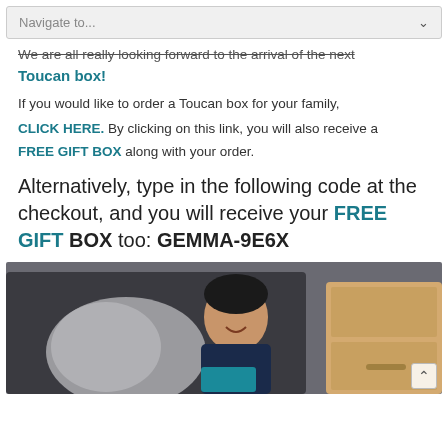Navigate to...
We are all really looking forward to the arrival of the next Toucan box!
If you would like to order a Toucan box for your family, CLICK HERE. By clicking on this link, you will also receive a FREE GIFT BOX along with your order.
Alternatively, type in the following code at the checkout, and you will receive your FREE GIFT BOX too: GEMMA-9E6X
[Figure (photo): A child sitting on a sofa smiling, with pillows and a wooden bedside cabinet in the background.]